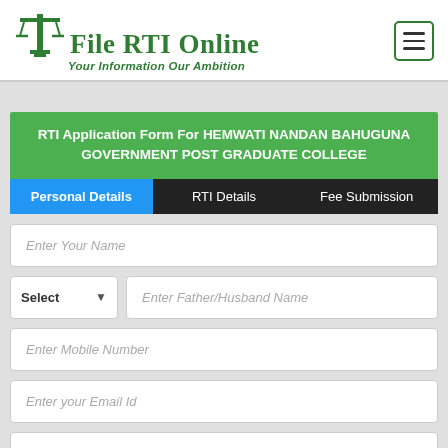[Figure (logo): File RTI Online logo with scales icon and tagline 'Your Information Our Ambition' in green]
RTI Application Form For HEMWATI NANDAN BAHUGUNA GOVERNMENT POST GRADUATE COLLEGE
Personal Details | RTI Details | Fee Submission
Enter Your Name
Select | Enter Father/Husband Name
Enter Mobile Number
Enter your Email Id
Enter your Address with PIN Code